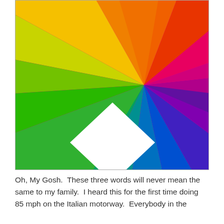[Figure (illustration): Color wheel / spectrum artwork: radiating triangular segments covering the full color spectrum (red, orange, yellow, green, teal, blue, purple, pink, magenta) emanating from a central point, with a white diamond/rhombus shape overlaid near the center-left. The image is square with a slight border/shadow.]
Oh, My Gosh.  These three words will never mean the same to my family.  I heard this for the first time doing 85 mph on the Italian motorway.  Everybody in the